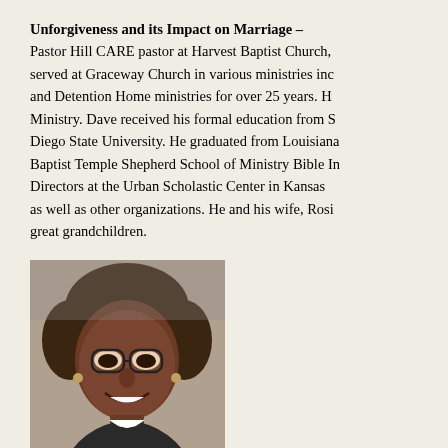Unforgiveness and its Impact on Marriage – Pastor Hill CARE pastor at Harvest Baptist Church, served at Graceway Church in various ministries including and Detention Home ministries for over 25 years. H Ministry. Dave received his formal education from S Diego State University. He graduated from Louisiana Baptist Temple Shepherd School of Ministry Bible In Directors at the Urban Scholastic Center in Kansas as well as other organizations. He and his wife, Rosi great grandchildren.
[Figure (photo): Portrait photo of Rosie Hill, a smiling woman with short brown hair and glasses, wearing a black and white patterned top.]
Rosie Hill